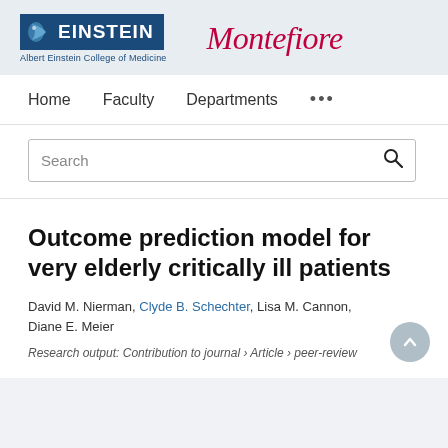[Figure (logo): Einstein - Albert Einstein College of Medicine logo and Montefiore logo side by side in header band]
Home   Faculty   Departments   ...
Search
Outcome prediction model for very elderly critically ill patients
David M. Nierman, Clyde B. Schechter, Lisa M. Cannon, Diane E. Meier
Research output: Contribution to journal › Article › peer-review